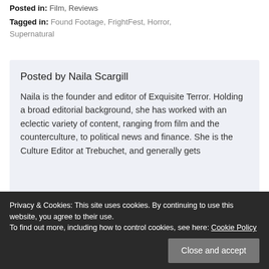Posted in: Film, Reviews
Tagged in: Found Footage, FrightFest, Horror, Supernatural
Posted by Naila Scargill
Naila is the founder and editor of Exquisite Terror. Holding a broad editorial background, she has worked with an eclectic variety of content, ranging from film and the counterculture, to political news and finance. She is the Culture Editor at Trebuchet, and generally gets
✓ All Posts
Privacy & Cookies: This site uses cookies. By continuing to use this website, you agree to their use. To find out more, including how to control cookies, see here: Cookie Policy
Close and accept